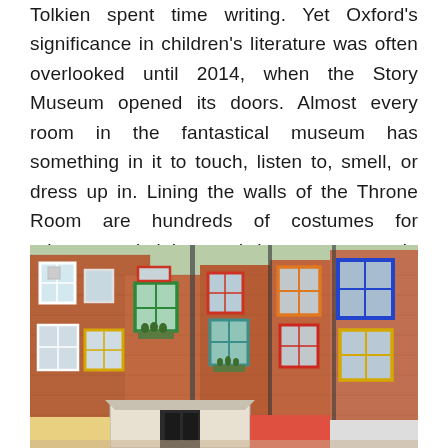Tolkien spent time writing. Yet Oxford's significance in children's literature was often overlooked until 2014, when the Story Museum opened its doors. Almost every room in the fantastical museum has something in it to touch, listen to, smell, or dress up in. Lining the walls of the Throne Room are hundreds of costumes for princesses, knights, and dragons to pose in on the Story Throne for photos.
[Figure (photo): Aerial view of brick buildings with colorful window frames (green, red, blue, yellow, orange) forming the Story Museum courtyard in Oxford.]